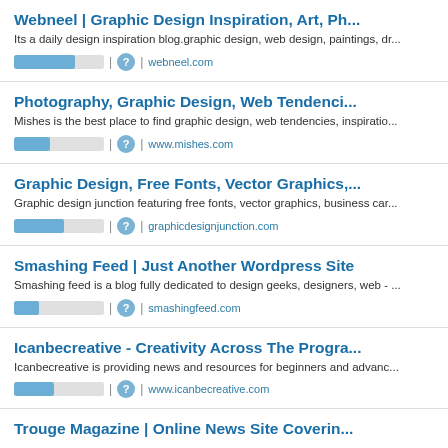Webneel | Graphic Design Inspiration, Art, Ph...
Its a daily design inspiration blog.graphic design, web design, paintings, dr...
webneel.com
Photography, Graphic Design, Web Tendenci...
Mishes is the best place to find graphic design, web tendencies, inspiratio...
www.mishes.com
Graphic Design, Free Fonts, Vector Graphics,...
Graphic design junction featuring free fonts, vector graphics, business car...
graphicdesignjunction.com
Smashing Feed | Just Another Wordpress Site
Smashing feed is a blog fully dedicated to design geeks, designers, web - ...
smashingfeed.com
Icanbecreative - Creativity Across The Progra...
Icanbecreative is providing news and resources for beginners and advanc...
www.icanbecreative.com
Trouge Magazine | Online News Site Coverin...